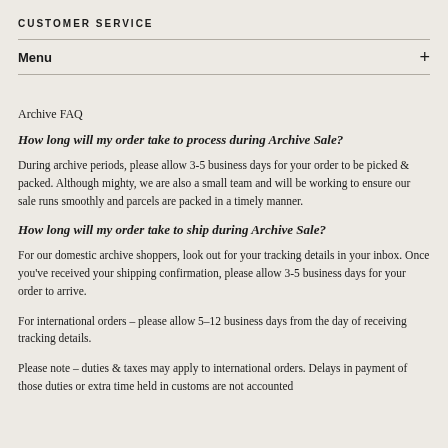CUSTOMER SERVICE
Menu
Archive FAQ
How long will my order take to process during Archive Sale?
During archive periods, please allow 3-5 business days for your order to be picked & packed. Although mighty, we are also a small team and will be working to ensure our sale runs smoothly and parcels are packed in a timely manner.
How long will my order take to ship during Archive Sale?
For our domestic archive shoppers, look out for your tracking details in your inbox. Once you've received your shipping confirmation, please allow 3-5 business days for your order to arrive.
For international orders – please allow 5-12 business days from the day of receiving tracking details.
Please note – duties & taxes may apply to international orders. Delays in payment of those duties or extra time held in customs are not accounted